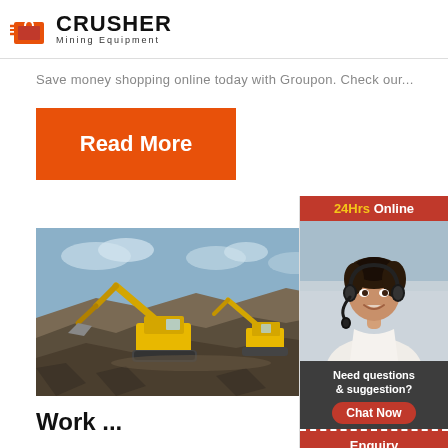[Figure (logo): Crusher Mining Equipment logo with red shopping bag icon and bold CRUSHER text]
Save money shopping online today with Groupon. Check our...
[Figure (other): Orange 'Read More' button]
[Figure (photo): Mining excavator at a quarry/rock site with heavy machinery]
How t Online Shopp Coupо Codes
Work ...
[Figure (infographic): Right sidebar with 24Hrs Online label, photo of woman with headset, Need questions & suggestion?, Chat Now button, Enquiry, limingjlmofen@sina.com]